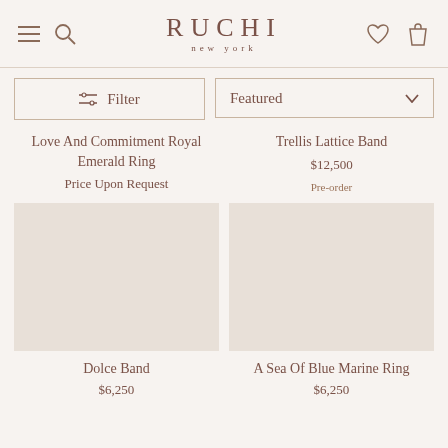RUCHI new york
Love And Commitment Royal Emerald Ring
Price Upon Request
Trellis Lattice Band
$12,500
Pre-order
Dolce Band
$6,250
A Sea Of Blue Marine Ring
$6,250